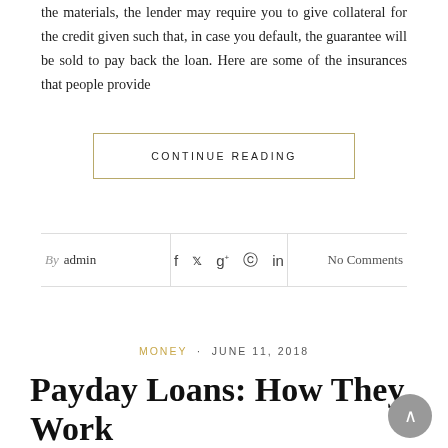the materials, the lender may require you to give collateral for the credit given such that, in case you default, the guarantee will be sold to pay back the loan. Here are some of the insurances that people provide
CONTINUE READING
By admin
No Comments
MONEY · JUNE 11, 2018
Payday Loans: How They Work